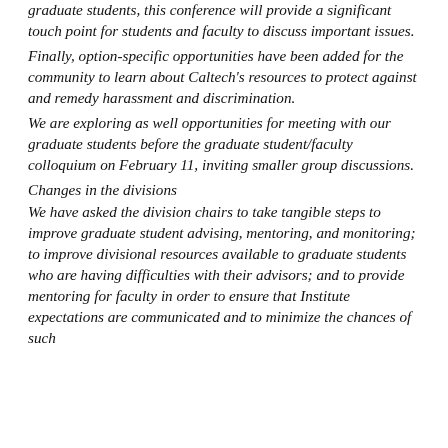graduate students, this conference will provide a significant touch point for students and faculty to discuss important issues.
Finally, option-specific opportunities have been added for the community to learn about Caltech's resources to protect against and remedy harassment and discrimination.
We are exploring as well opportunities for meeting with our graduate students before the graduate student/faculty colloquium on February 11, inviting smaller group discussions.
Changes in the divisions
We have asked the division chairs to take tangible steps to improve graduate student advising, mentoring, and monitoring; to improve divisional resources available to graduate students who are having difficulties with their advisors; and to provide mentoring for faculty in order to ensure that Institute expectations are communicated and to minimize the chances of such problems occurring in the future. The division chairs